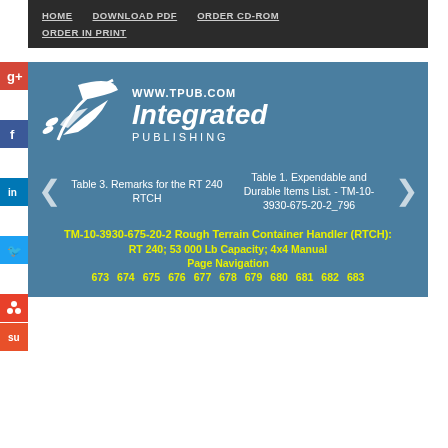HOME   DOWNLOAD PDF   ORDER CD-ROM   ORDER IN PRINT
[Figure (logo): Integrated Publishing logo with stylized bird/plant graphic, WWW.TPUB.COM, Integrated Publishing text]
Table 3. Remarks for the RT 240 RTCH
Table 1. Expendable and Durable Items List. - TM-10-3930-675-20-2_796
TM-10-3930-675-20-2 Rough Terrain Container Handler (RTCH): RT 240; 53 000 Lb Capacity; 4x4 Manual
Page Navigation
673  674  675  676  677  678  679  680  681  682  683